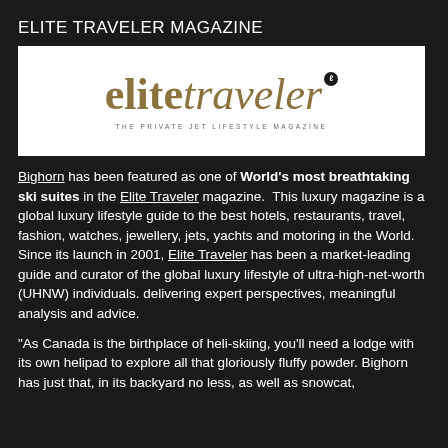ELITE TRAVELER MAGAZINE
[Figure (logo): Elite Traveler magazine logo — stylized text 'elite traveler' in gold/tan serif font with tagline 'THE PRIVATE JET LIFESTYLE MAGAZINE' on white background]
Bighorn has been featured as one of World's most breathtaking ski suites in the Elite Traveler magazine. This luxury magazine is a global luxury lifestyle guide to the best hotels, restaurants, travel, fashion, watches, jewellery, jets, yachts and motoring in the World. Since its launch in 2001, Elite Traveler has been a market-leading guide and curator of the global luxury lifestyle of ultra-high-net-worth (UHNW) individuals. delivering expert perspectives, meaningful analysis and advice.
"As Canada is the birthplace of heli-skiing, you'll need a lodge with its own helipad to explore all that gloriously fluffy powder. Bighorn has just that, in its backyard no less, as well as snowcat,